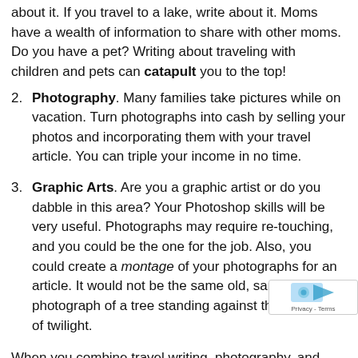about it. If you travel to a lake, write about it. Moms have a wealth of information to share with other moms. Do you have a pet? Writing about traveling with children and pets can catapult you to the top!
Photography. Many families take pictures while on vacation. Turn photographs into cash by selling your photos and incorporating them with your travel article. You can triple your income in no time.
Graphic Arts. Are you a graphic artist or do you dabble in this area? Your Photoshop skills will be very useful. Photographs may require re-touching, and you could be the one for the job. Also, you could create a montage of your photographs for an article. It would not be the same old, same old photograph of a tree standing against the backdrop of twilight.
When you combine travel writing, photography, and graphic arts, you have a sure-fire way to work from save money, and live a more fulfilled life. You could cook